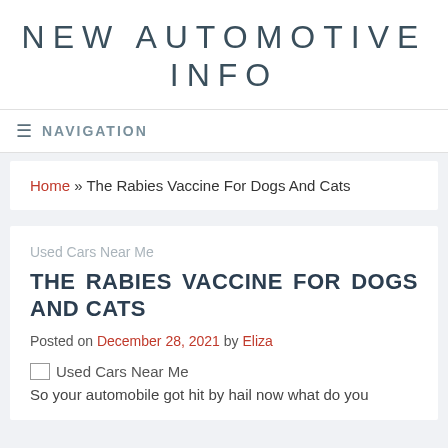NEW AUTOMOTIVE INFO
≡ NAVIGATION
Home » The Rabies Vaccine For Dogs And Cats
Used Cars Near Me
THE RABIES VACCINE FOR DOGS AND CATS
Posted on December 28, 2021 by Eliza
[Figure (photo): Used Cars Near Me image (broken/loading)]
So your automobile got hit by hail now what do you